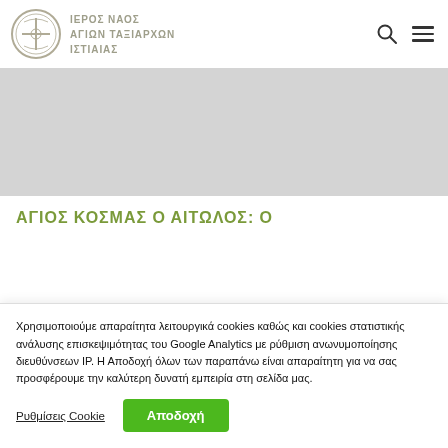ΙΕΡΟΣ ΝΑΟΣ ΑΓΙΩΝ ΤΑΞΙΑΡΧΩΝ ΙΣΤΙΑΙΑΣ
[Figure (photo): Gray hero/banner image area for the church website]
ΑΓΙΟΣ ΚΟΣΜΑΣ Ο ΑΙΤΩΛΟΣ: Ο
Χρησιμοποιούμε απαραίτητα λειτουργικά cookies καθώς και cookies στατιστικής ανάλυσης επισκεψιμότητας του Google Analytics με ρύθμιση ανωνυμοποίησης διευθύνσεων IP. Η Αποδοχή όλων των παραπάνω είναι απαραίτητη για να σας προσφέρουμε την καλύτερη δυνατή εμπειρία στη σελίδα μας.
Ρυθμίσεις Cookie
Αποδοχή